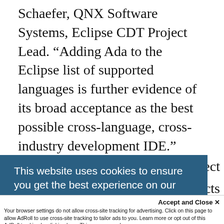Schaefer, QNX Software Systems, Eclipse CDT Project Lead. “Adding Ada to the Eclipse list of supported languages is further evidence of its broad acceptance as the best possible cross-language, cross-industry development IDE.”
The ADT project benefits any organization using popular Real-Time Operating Systems (RTOSs) that support Eclipse in their development
[Figure (screenshot): Cookie consent banner overlay with dark blue background reading: 'This website uses cookies to ensure you get the best experience on our website.' with a 'Learn More' link.]
Accept and Close ×
Your browser settings do not allow cross-site tracking for advertising. Click on this page to allow AdRoll to use cross-site tracking to tailor ads to you. Learn more or opt out of this AdRoll tracking by clicking here. This message only appears once.